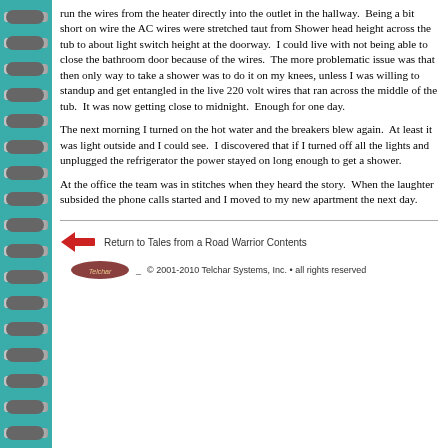run the wires from the heater directly into the outlet in the hallway.  Being a bit short on wire the AC wires were stretched taut from Shower head height across the tub to about light switch height at the doorway.  I could live with not being able to close the bathroom door because of the wires.  The more problematic issue was that then only way to take a shower was to do it on my knees, unless I was willing to standup and get entangled in the live 220 volt wires that ran across the middle of the tub.  It was now getting close to midnight.  Enough for one day.
The next morning I turned on the hot water and the breakers blew again.  At least it was light outside and I could see.  I discovered that if I turned off all the lights and unplugged the refrigerator the power stayed on long enough to get a shower.
At the office the team was in stitches when they heard the story.  When the laughter subsided the phone calls started and I moved to my new apartment the next day.
Return to Tales from a Road Warrior Contents
© 2001-2010 Telchar Systems, Inc. • all rights reserved